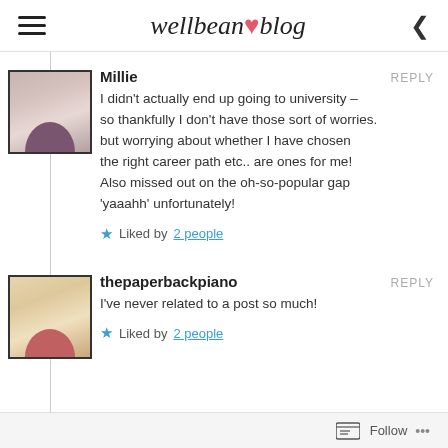wellbean blog
Millie
I didn't actually end up going to university – so thankfully I don't have those sort of worries. but worrying about whether I have chosen the right career path etc.. are ones for me! Also missed out on the oh-so-popular gap 'yaaahh' unfortunately!
Liked by 2 people
thepaperbackpiano
I've never related to a post so much!
Liked by 2 people
Follow